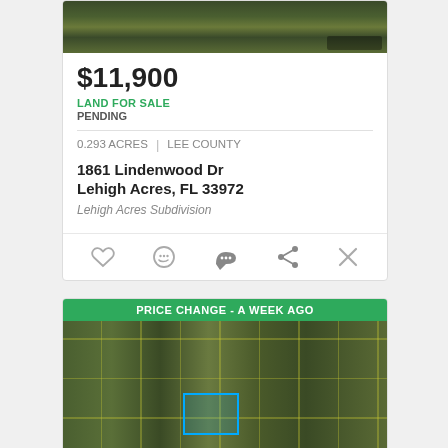[Figure (photo): Aerial satellite view of land parcel]
$11,900
LAND FOR SALE
PENDING
0.293 ACRES | LEE COUNTY
1861 Lindenwood Dr
Lehigh Acres, FL 33972
Lehigh Acres Subdivision
[Figure (photo): Second listing aerial satellite map with PRICE CHANGE - A WEEK AGO banner]